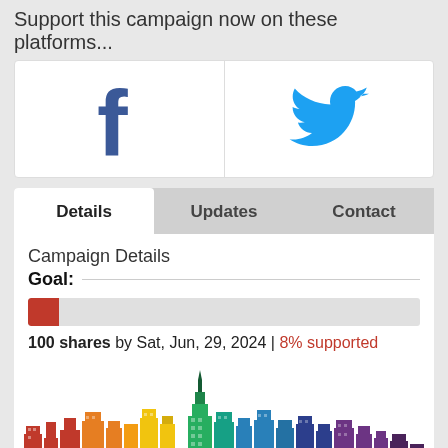Support this campaign now on these platforms...
[Figure (logo): Facebook logo (dark blue f icon) and Twitter logo (blue bird icon) side by side in a white box]
Details | Updates | Contact (tab navigation, Details active)
Campaign Details
Goal:
[Figure (infographic): Progress bar showing 8% filled in red on a gray background]
100 shares by Sat, Jun, 29, 2024 | 8% supported
[Figure (illustration): Rainbow-colored city skyline illustration with tall buildings in red, orange, yellow, green, blue, indigo, violet gradient colors]